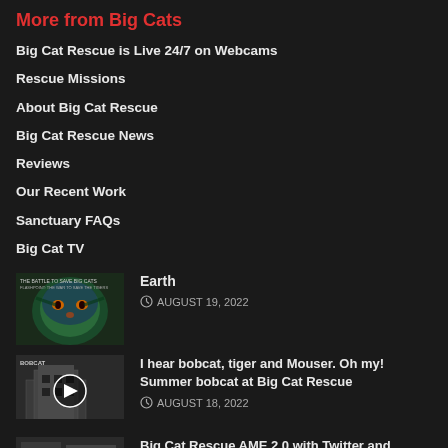More from Big Cats
Big Cat Rescue is Live 24/7 on Webcams
Rescue Missions
About Big Cat Rescue
Big Cat Rescue News
Reviews
Our Recent Work
Sanctuary FAQs
Big Cat TV
[Figure (photo): Thumbnail image showing a tiger face illustration with green and blue colors, for the article 'Earth']
Earth
AUGUST 19, 2022
[Figure (photo): Thumbnail image showing a black and white outdoor scene with a play button overlay, for the article about bobcat]
I hear bobcat, tiger and Mouser. Oh my! Summer bobcat at Big Cat Rescue
AUGUST 18, 2022
Big Cat Rescue AME 2.0 with Twitter and...